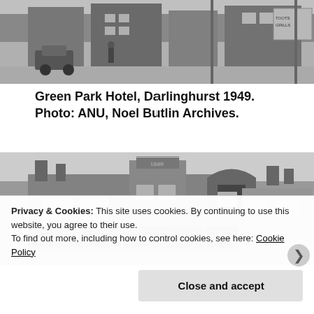[Figure (photo): Black and white street photo, top portion showing a street scene with a car and buildings, 1949]
Green Park Hotel, Darlinghurst 1949. Photo: ANU, Noel Butlin Archives.
[Figure (photo): Black and white photo of Green Park Hotel building exterior with signage reading GREEN PARK HOTEL and TOOTH'S XX ALE]
Privacy & Cookies: This site uses cookies. By continuing to use this website, you agree to their use.
To find out more, including how to control cookies, see here: Cookie Policy
Close and accept